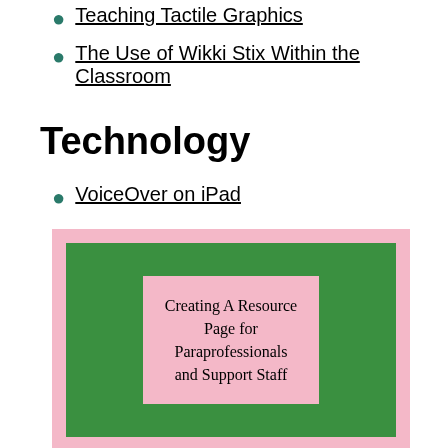Teaching Tactile Graphics
The Use of Wikki Stix Within the Classroom
Technology
VoiceOver on iPad
[Figure (illustration): Book cover image with pink outer border and green background, containing a pink text box reading 'Creating A Resource Page for Paraprofessionals and Support Staff']